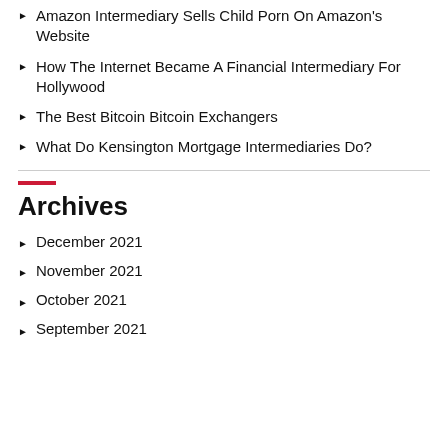Amazon Intermediary Sells Child Porn On Amazon's Website
How The Internet Became A Financial Intermediary For Hollywood
The Best Bitcoin Bitcoin Exchangers
What Do Kensington Mortgage Intermediaries Do?
Archives
December 2021
November 2021
October 2021
September 2021